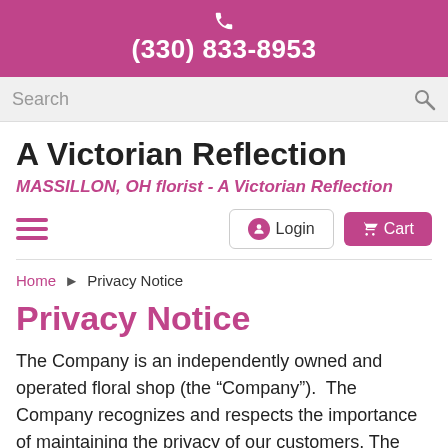(330) 833-8953
A Victorian Reflection
MASSILLON, OH florist - A Victorian Reflection
Login  Cart
Home › Privacy Notice
Privacy Notice
The Company is an independently owned and operated floral shop (the “Company”).  The Company recognizes and respects the importance of maintaining the privacy of our customers. The purpose of this Privacy Policy is to